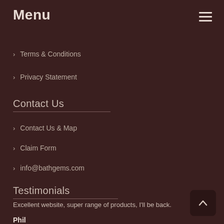Menu
Terms & Conditions
Privacy Statement
Contact Us
Contact Us & Map
Claim Form
info@bathgems.com
Testimonials
Excellent website, super range of products, I'll be back.
Phil